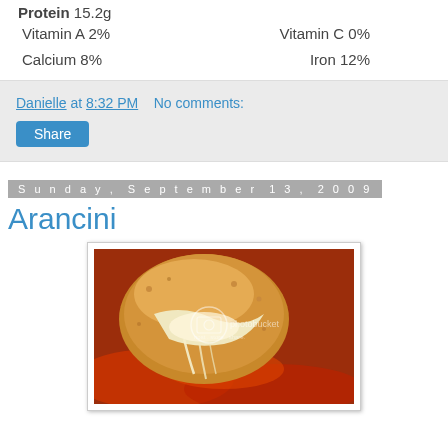Protein 15.2g
Vitamin A 2%    Vitamin C 0%
Calcium 8%    Iron 12%
Danielle at 8:32 PM    No comments:
Share
Sunday, September 13, 2009
Arancini
[Figure (photo): Close-up photo of arancini (breaded rice balls) broken open showing melted cheese, sitting on tomato sauce. Photobucket watermark overlay visible.]